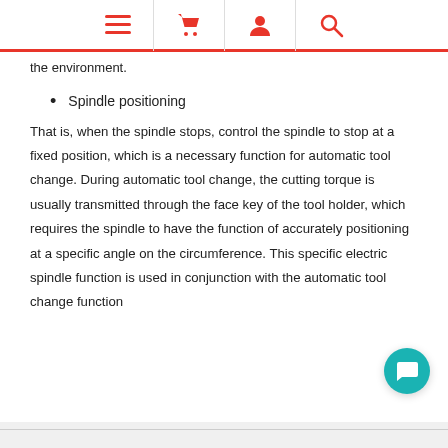[Navigation header with menu, basket, account, and search icons]
the environment.
Spindle positioning
That is, when the spindle stops, control the spindle to stop at a fixed position, which is a necessary function for automatic tool change. During automatic tool change, the cutting torque is usually transmitted through the face key of the tool holder, which requires the spindle to have the function of accurately positioning at a specific angle on the circumference. This specific electric spindle function is used in conjunction with the automatic tool change function